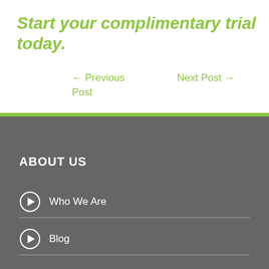Start your complimentary trial today.
← Previous Post
Next Post →
ABOUT US
Who We Are
Blog